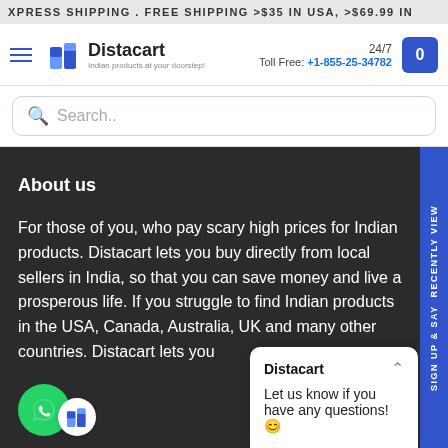XPRESS SHIPPING . FREE SHIPPING >$35 IN USA, >$69.99 IN
[Figure (logo): Distacart logo with text 'Indian products at your doorstep!' and navigation elements including hamburger menu, 24/7 Toll Free: +1-855-25-34782, and cart button]
Search..
About us
For those of you, who pay scary high prices for Indian products. Distacart lets you buy directly from local sellers in India, so that you can save money and live a prosperous life. If you struggle to find Indian products in the USA, Canada, Australia, UK and many other countries. Distacart lets you
Sign up & say RECENTLY VIEW
Distacart
Let us know if you have any questions! 😊